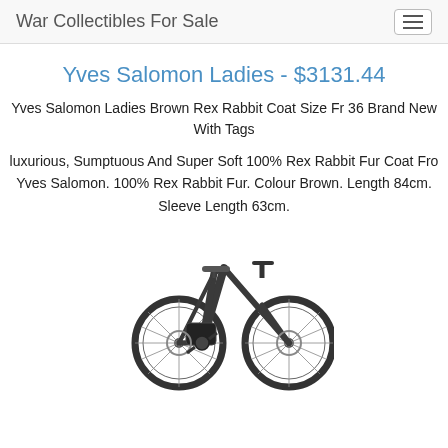War Collectibles For Sale
Yves Salomon Ladies - $3131.44
Yves Salomon Ladies Brown Rex Rabbit Coat Size Fr 36 Brand New With Tags
Luxurious, Sumptuous And Super Soft 100% Rex Rabbit Fur Coat From Yves Salomon. 100% Rex Rabbit Fur. Colour Brown. Length 84cm. Sleeve Length 63cm.
[Figure (photo): Photo of a dark gray/anthracite electric mountain bike (e-bike) shown in profile view from the right side, with front suspension fork, disc brakes, and a motor unit on the bottom bracket area.]